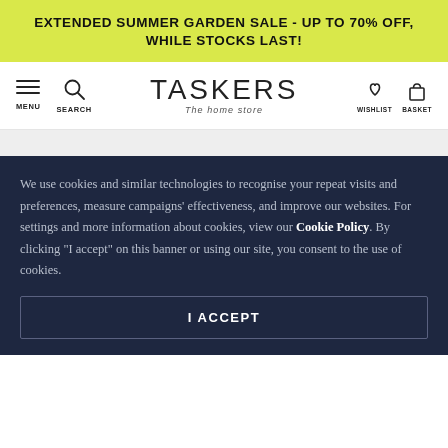EXTENDED SUMMER GARDEN SALE - UP TO 70% OFF, WHILE STOCKS LAST!
[Figure (logo): Taskers The home store logo with menu, search, wishlist and basket navigation icons]
We use cookies and similar technologies to recognise your repeat visits and preferences, measure campaigns' effectiveness, and improve our websites. For settings and more information about cookies, view our Cookie Policy. By clicking "I accept" on this banner or using our site, you consent to the use of cookies.
I ACCEPT